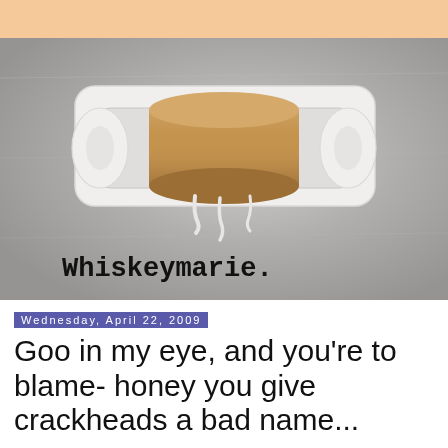[Figure (photo): An empty cardboard toilet paper roll sitting on a white ceramic wall-mounted toilet paper holder, mounted on a grey textured wall, with small torn pieces of paper hanging below. The blog name 'Whiskeymarie.' is overlaid in bold monospace font at the bottom of the image.]
Wednesday, April 22, 2009
Goo in my eye, and you're to blame- honey you give crackheads a bad name...